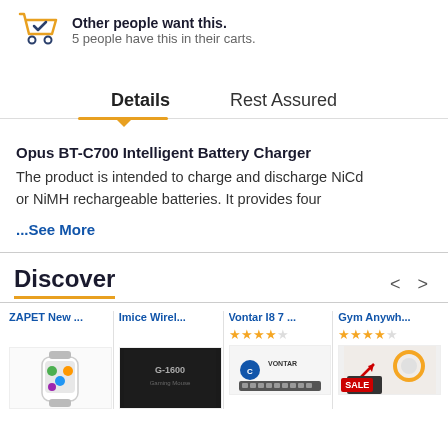Other people want this. 5 people have this in their carts.
Details    Rest Assured
Opus BT-C700 Intelligent Battery Charger
The product is intended to charge and discharge NiCd or NiMH rechargeable batteries. It provides four
...See More
Discover
ZAPET New ...
Imice Wirel...
Vontar I8 7 ...
Gym Anywh...